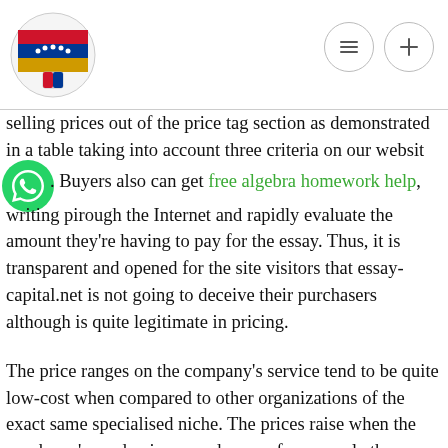[Logo and navigation icons]
selling prices out of the price tag section as demonstrated in a table taking into account three criteria on our website. Buyers also can get free algebra homework help, writing prices through the Internet and rapidly evaluate the amount they're having to pay for the essay. Thus, it is transparent and opened for the site visitors that essay-capital.net is not going to deceive their purchasers although is quite legitimate in pricing.
The price ranges on the company's service tend to be quite low-cost when compared to other organizations of the exact same specialised niche. The prices raise when the purchaser's academic year advances for example the purchaser ordering of the high school graduation level is required to cover as small as 11.30 along with the lowered promptness and along with the speediest final target time may need to pay 34.75. The purchaser making order at Philosophy